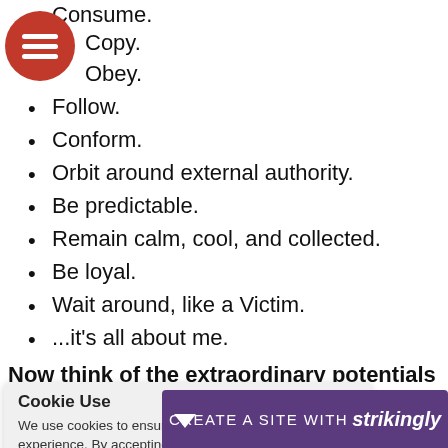Consume.
Copy.
Obey.
Follow.
Conform.
Orbit around external authority.
Be predictable.
Remain calm, cool, and collected.
Be loyal.
Wait around, like a Victim.
...it's all about me.
Now think of the extraordinary potentials packed i...adiate as a 'star'...t a star that is a...r people):
Cookie Use
We use cookies to ensure a smooth browsing experience. By accepting, you agree the use of cookies. Learn More
CREATE A SITE WITH strikingly